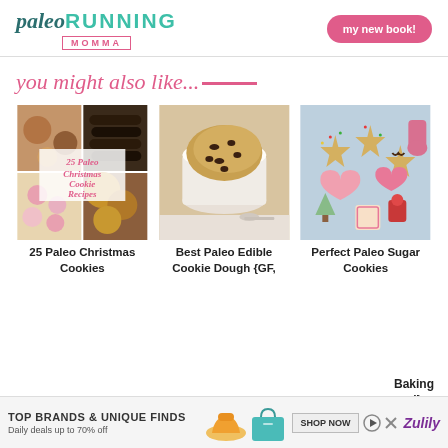paleo RUNNING MOMMA — my new book!
you might also like...
[Figure (photo): Collage of paleo Christmas cookies with text overlay '25 Paleo Christmas Cookie Recipes']
[Figure (photo): Photo of paleo edible cookie dough in a white ramekin]
[Figure (photo): Photo of decorated paleo sugar cookies on a light blue background]
25 Paleo Christmas Cookies
Best Paleo Edible Cookie Dough {GF,
Perfect Paleo Sugar Cookies
Baking el}
TOP BRANDS & UNIQUE FINDS
Daily deals up to 70% off